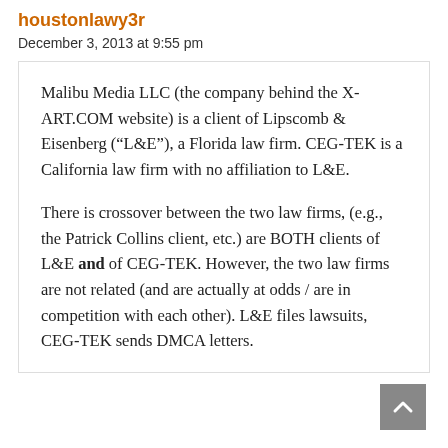houstonlawy3r
December 3, 2013 at 9:55 pm
Malibu Media LLC (the company behind the X-ART.COM website) is a client of Lipscomb & Eisenberg (“L&E”), a Florida law firm. CEG-TEK is a California law firm with no affiliation to L&E.
There is crossover between the two law firms, (e.g., the Patrick Collins client, etc.) are BOTH clients of L&E and of CEG-TEK. However, the two law firms are not related (and are actually at odds / are in competition with each other). L&E files lawsuits, CEG-TEK sends DMCA letters.